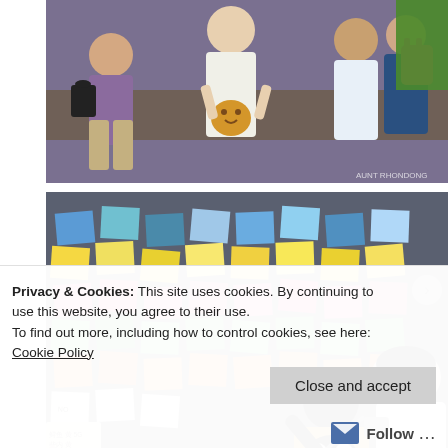[Figure (photo): Group of people sitting on a bench, one person wearing a cookie emoji bag/purse. Photo has a watermark in the bottom right corner reading 'AUNT RHONDONG'.]
[Figure (photo): Child in a panda/monster print shirt and adult looking at a wall covered in colorful sticky notes with writing, some of which read 'NO'.]
Privacy & Cookies: This site uses cookies. By continuing to use this website, you agree to their use.
To find out more, including how to control cookies, see here: Cookie Policy
Close and accept
Follow